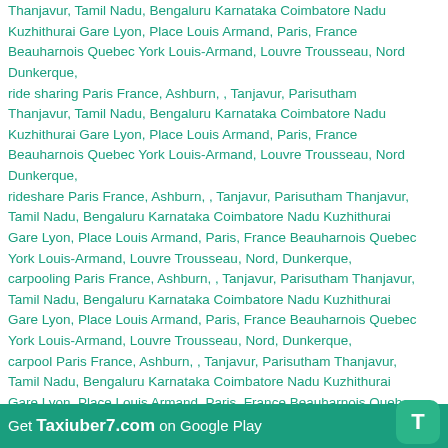Thanjavur, Tamil Nadu, Bengaluru Karnataka Coimbatore Nadu Kuzhithurai Gare Lyon, Place Louis Armand, Paris, France Beauharnois Quebec York Louis-Armand, Louvre Trousseau, Nord Dunkerque,
ride sharing Paris France, Ashburn, , Tanjavur, Parisutham Thanjavur, Tamil Nadu, Bengaluru Karnataka Coimbatore Nadu Kuzhithurai Gare Lyon, Place Louis Armand, Paris, France Beauharnois Quebec York Louis-Armand, Louvre Trousseau, Nord Dunkerque,
rideshare Paris France, Ashburn, , Tanjavur, Parisutham Thanjavur, Tamil Nadu, Bengaluru Karnataka Coimbatore Nadu Kuzhithurai Gare Lyon, Place Louis Armand, Paris, France Beauharnois Quebec York Louis-Armand, Louvre Trousseau, Nord, Dunkerque,
carpooling Paris France, Ashburn, , Tanjavur, Parisutham Thanjavur, Tamil Nadu, Bengaluru Karnataka Coimbatore Nadu Kuzhithurai Gare Lyon, Place Louis Armand, Paris, France Beauharnois Quebec York Louis-Armand, Louvre Trousseau, Nord, Dunkerque,
carpool Paris France, Ashburn, , Tanjavur, Parisutham Thanjavur, Tamil Nadu, Bengaluru Karnataka Coimbatore Nadu Kuzhithurai Gare Lyon, Place Louis Armand, Paris, France Beauharnois Quebec York Louis-Armand, Louvre Trousseau, Nord, Dunkerque,
car pool Paris France, Ashburn, , Tanjavur, Parisutham Thanjavur, Tamil Nadu, Bengaluru Karnataka Coimbatore Nadu Kuzhithurai Gare Lyon, Place Louis Armand, Paris, France Beauharnois Quebec York Louis-Armand, Dunkerque,
carpooling Paris France, Ashburn, , Tanjavur, Parisutham
Get Taxiuber7.com on Google Play